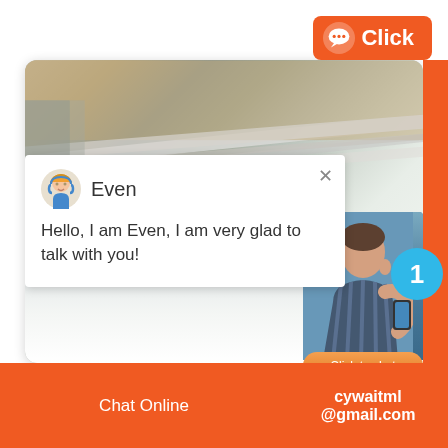[Figure (screenshot): Orange rounded button with chat bubble icon and text 'Click' in top right corner]
[Figure (screenshot): Live chat widget showing a photo of railway/stairs background with a white chat popup overlay featuring agent 'Even' saying 'Hello, I am Even, I am very glad to talk with you!', an agent photo in bottom right with blue notification badge showing '1', 'Click to chat' orange button, and 'Enquiry' section]
Even
Hello, I am Even, I am very glad to talk with you!
1
Click to chat
Enquiry
Chat Online    cywaitml @gmail.com